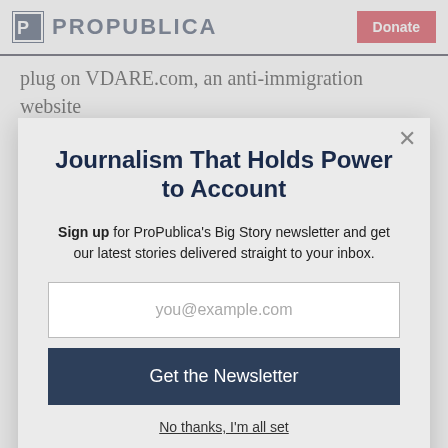ProPublica | Donate
plug on VDARE.com, an anti-immigration website
Journalism That Holds Power to Account
Sign up for ProPublica's Big Story newsletter and get our latest stories delivered straight to your inbox.
you@example.com
Get the Newsletter
No thanks, I'm all set
This site is protected by reCAPTCHA and the Google Privacy Policy and Terms of Service apply.